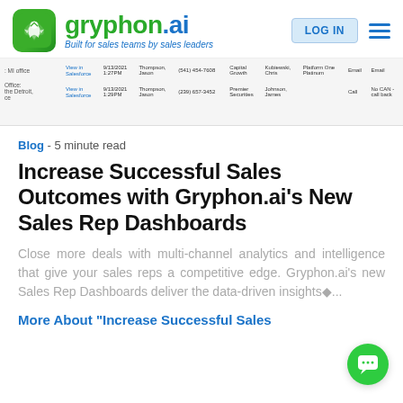gryphon.ai — Built for sales teams by sales leaders
[Figure (screenshot): Partial screenshot of a Salesforce-like data table showing call records with columns for office, view in Salesforce, date/time, agent name, phone number, company, contact, platform, channel, and result.]
Blog - 5 minute read
Increase Successful Sales Outcomes with Gryphon.ai's New Sales Rep Dashboards
Close more deals with multi-channel analytics and intelligence that give your sales reps a competitive edge. Gryphon.ai's new Sales Rep Dashboards deliver the data-driven insights◆...
More About "Increase Successful Sales